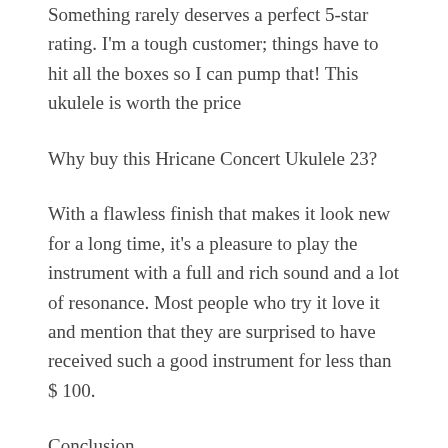Something rarely deserves a perfect 5-star rating. I'm a tough customer; things have to hit all the boxes so I can pump that! This ukulele is worth the price
Why buy this Hricane Concert Ukulele 23?
With a flawless finish that makes it look new for a long time, it's a pleasure to play the instrument with a full and rich sound and a lot of resonance. Most people who try it love it and mention that they are surprised to have received such a good instrument for less than $ 100.
Conclusion